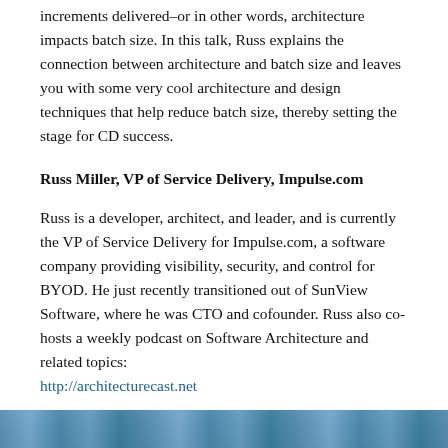increments delivered–or in other words, architecture impacts batch size. In this talk, Russ explains the connection between architecture and batch size and leaves you with some very cool architecture and design techniques that help reduce batch size, thereby setting the stage for CD success.
Russ Miller, VP of Service Delivery, Impulse.com
Russ is a developer, architect, and leader, and is currently the VP of Service Delivery for Impulse.com, a software company providing visibility, security, and control for BYOD. He just recently transitioned out of SunView Software, where he was CTO and cofounder. Russ also co-hosts a weekly podcast on Software Architecture and related topics: http://architecturecast.net
[Figure (photo): Partial photo strip visible at the bottom of the page, appears to be a conference or speaker photo]